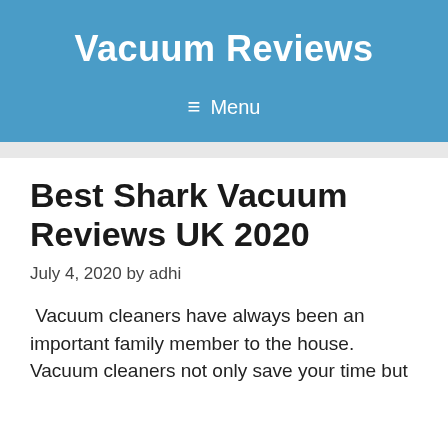Vacuum Reviews
≡ Menu
Best Shark Vacuum Reviews UK 2020
July 4, 2020 by adhi
Vacuum cleaners have always been an important family member to the house. Vacuum cleaners not only save your time but